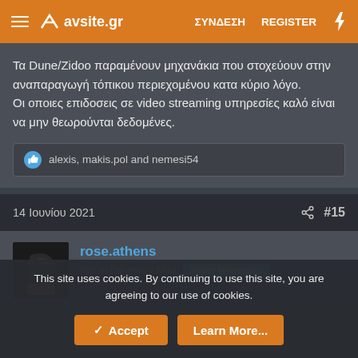avsite.gr  ΣΥΝΔΕΣΗ  REGISTER
Τα Dune/Zidoo παραμένουν μηχανάκια που στοχεύουν στην αναπαραγωγή τόπικου περιεχομένου κατα κύριο λόγο. Οι οποιες επιδοσεις σε video streaming υπηρεσίες καλό είναι να μην θεωρούνται δεδομένες.
alexis, makis.pol and nemesi54
14 Ιουνίου 2021  #15
rose.athens
Not in the mood Mod  Super Moderator
This site uses cookies. By continuing to use this site, you are agreeing to our use of cookies.
✓ Accept  Learn More...